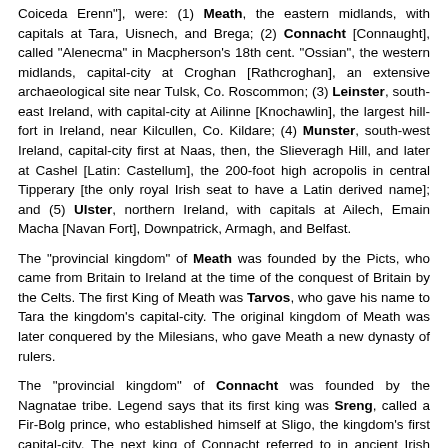Coiceda Erenn"], were: (1) Meath, the eastern midlands, with capitals at Tara, Uisnech, and Brega; (2) Connacht [Connaught], called "Alenecma" in Macpherson's 18th cent. "Ossian", the western midlands, capital-city at Croghan [Rathcroghan], an extensive archaeological site near Tulsk, Co. Roscommon; (3) Leinster, south-east Ireland, with capital-city at Ailinne [Knochawlin], the largest hill-fort in Ireland, near Kilcullen, Co. Kildare; (4) Munster, south-west Ireland, capital-city first at Naas, then, the Slieveragh Hill, and later at Cashel [Latin: Castellum], the 200-foot high acropolis in central Tipperary [the only royal Irish seat to have a Latin derived name]; and (5) Ulster, northern Ireland, with capitals at Ailech, Emain Macha [Navan Fort], Downpatrick, Armagh, and Belfast.
The "provincial kingdom" of Meath was founded by the Picts, who came from Britain to Ireland at the time of the conquest of Britain by the Celts. The first King of Meath was Tarvos, who gave his name to Tara the kingdom's capital-city. The original kingdom of Meath was later conquered by the Milesians, who gave Meath a new dynasty of rulers.
The "provincial kingdom" of Connacht was founded by the Nagnatae tribe. Legend says that its first king was Sreng, called a Fir-Bolg prince, who established himself at Sligo, the kingdom's first capital-city. The next king of Connacht referred to in ancient Irish annals is Sanbh [son of Ceit Mac Magach], who flourished circa AD 75. The kingdom was re-founded in about AD 200 following a period of civil wars in Ireland by Cathal "Mor" [Mac Maghnu], who built the citadel of Croghan and is also called the first King of Connacht. His descendants held sway in Connacht until its conquest by the Connachta Dynasty, which gave the kingdom its name, circa AD 425.
The "provincial kingdom" of Leinster was founded by the Fir-Bolg [Belgae], who established themselves at Dinn Ríg, the kingdom's first capital-city.